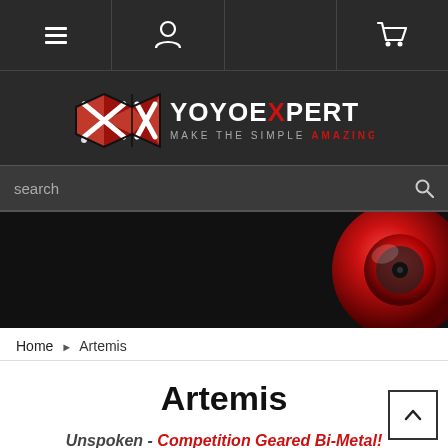YoyoExpert navigation bar with menu, user, and cart icons
[Figure (logo): YoyoExpert logo: red geometric diamond shape with white X, text YOYOEXPERT MAKE THE SIMPLE AMAZING]
search
[Figure (photo): Dark banner with a red metallic yoyo on the right side against a black background]
Home ▶ Artemis
Artemis
Unspoken - Competition Geared Bi-Metal!